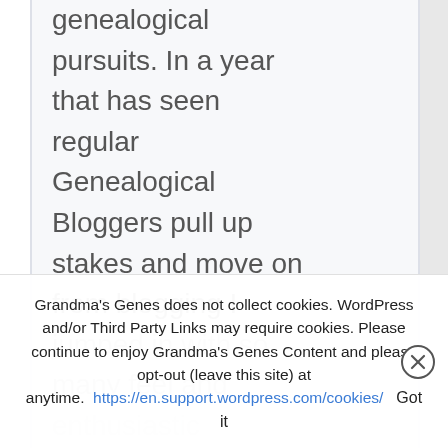genealogical pursuits. In a year that has seen regular Genealogical Bloggers pull up stakes and move on from blogging I jumped in with so many feel and
Grandma's Genes does not collect cookies. WordPress and/or Third Party Links may require cookies. Please continue to enjoy Grandma's Genes Content and please opt-out (leave this site) at anytime. https://en.support.wordpress.com/cookies/ Got it